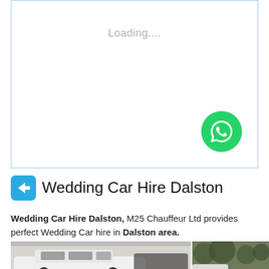[Figure (screenshot): Loading placeholder box with 'Loading....' text and a green WhatsApp button in the bottom right corner]
Wedding Car Hire Dalston
Wedding Car Hire Dalston, M25 Chauffeur Ltd provides perfect Wedding Car hire in Dalston area.
[Figure (photo): Photographs of white wedding cars, split into two panels]